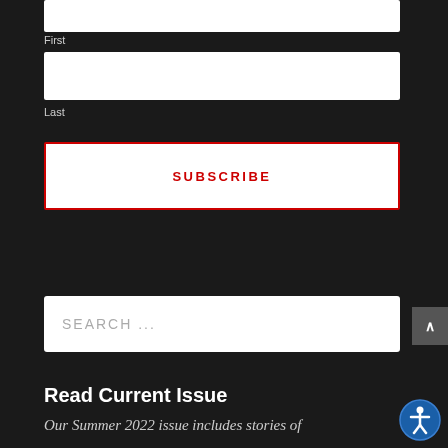[Figure (screenshot): White input text field for First name]
First
[Figure (screenshot): White input text field for Last name]
Last
SUBSCRIBE
[Figure (screenshot): Search input field with placeholder text SEARCH ...]
Read Current Issue
Our Summer 2022 issue includes stories of